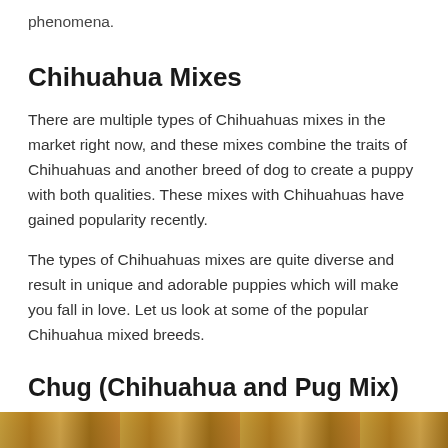phenomena.
Chihuahua Mixes
There are multiple types of Chihuahuas mixes in the market right now, and these mixes combine the traits of Chihuahuas and another breed of dog to create a puppy with both qualities. These mixes with Chihuahuas have gained popularity recently.
The types of Chihuahuas mixes are quite diverse and result in unique and adorable puppies which will make you fall in love. Let us look at some of the popular Chihuahua mixed breeds.
Chug (Chihuahua and Pug Mix)
[Figure (photo): Photo of a Chug (Chihuahua and Pug mix) dog, partially visible at the bottom of the page]